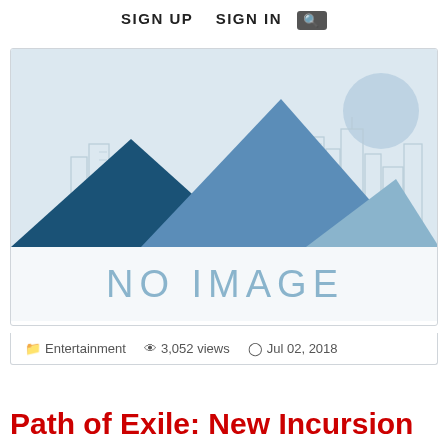SIGN UP   SIGN IN  🔍
[Figure (illustration): A placeholder 'NO IMAGE' graphic with blue mountains and a cityscape silhouette on a light blue/grey background.]
Entertainment   3,052 views   Jul 02, 2018
Path of Exile: New Incursion